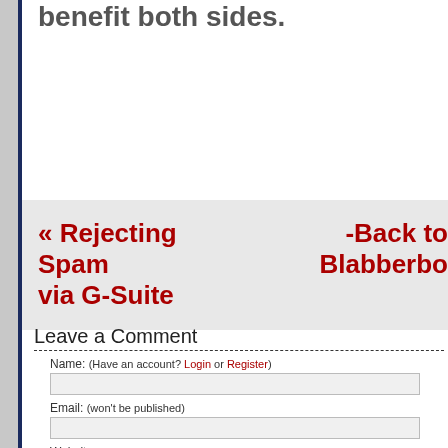benefit both sides.
« Rejecting Spam via G-Suite
-Back to Blabberbo
Leave a Comment
Name: (Have an account? Login or Register)
Email: (won't be published)
Website: (Optional)
Comment: